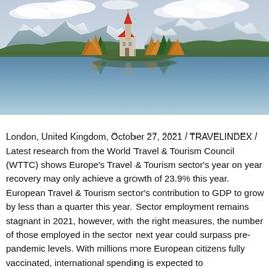[Figure (photo): Scenic photo of Lake Bled, Slovenia, showing a small island with a church with a red-roofed tower surrounded by autumn trees, snow-capped mountains in the background, and a calm reflective lake in the foreground.]
London, United Kingdom, October 27, 2021 / TRAVELINDEX / Latest research from the World Travel & Tourism Council (WTTC) shows Europe's Travel & Tourism sector's year on year recovery may only achieve a growth of 23.9% this year. European Travel & Tourism sector's contribution to GDP to grow by less than a quarter this year. Sector employment remains stagnant in 2021, however, with the right measures, the number of those employed in the sector next year could surpass pre-pandemic levels. With millions more European citizens fully vaccinated, international spending is expected to